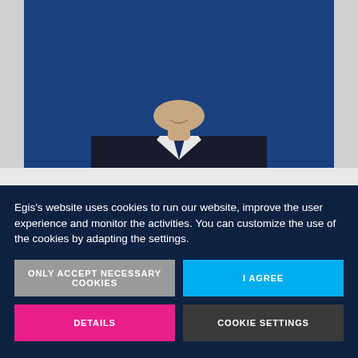[Figure (photo): Professional headshot of a man in a dark suit and navy tie, photographed against a blue background. Only the torso and lower face/chin area is visible.]
Egis's website uses cookies to run our website, improve the user experience and monitor the activities. You can customize the use of the cookies by adapting the settings.
ONLY ACCEPT NECESSARY COOKIES
I AGREE
DETAILS
COOKIE SETTINGS